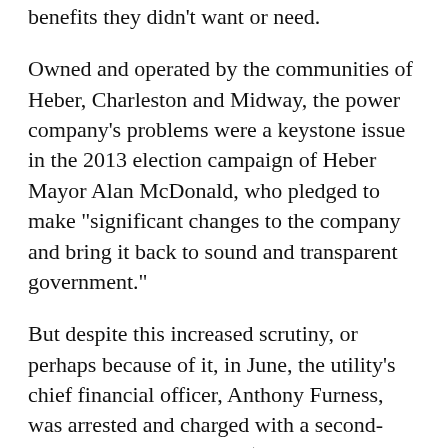benefits they didn't want or need.
Owned and operated by the communities of Heber, Charleston and Midway, the power company's problems were a keystone issue in the 2013 election campaign of Heber Mayor Alan McDonald, who pledged to make "significant changes to the company and bring it back to sound and transparent government."
But despite this increased scrutiny, or perhaps because of it, in June, the utility's chief financial officer, Anthony Furness, was arrested and charged with a second-degree felony for billing $50,000 in personal expenses to his employer. During the investigation into Furness, investigators discovered he was wanted in Canada on charges that he'd defrauded a power company there of $1,000